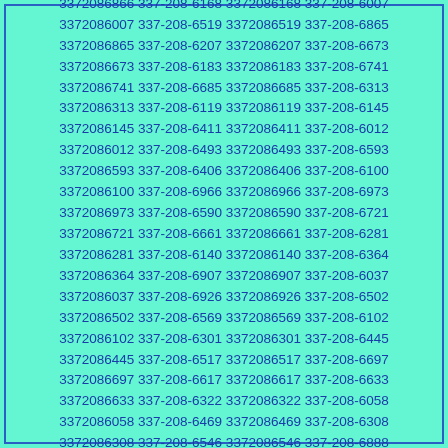3372086020 337-208-6915 3372086915 337-208-6181 3372086181 337-208-6723 3372086723 337-208-6866 3372086866 337-208-6168 3372086168 337-208-6007 3372086007 337-208-6519 3372086519 337-208-6865 3372086865 337-208-6207 3372086207 337-208-6673 3372086673 337-208-6183 3372086183 337-208-6741 3372086741 337-208-6685 3372086685 337-208-6313 3372086313 337-208-6119 3372086119 337-208-6145 3372086145 337-208-6411 3372086411 337-208-6012 3372086012 337-208-6493 3372086493 337-208-6593 3372086593 337-208-6406 3372086406 337-208-6100 3372086100 337-208-6966 3372086966 337-208-6973 3372086973 337-208-6590 3372086590 337-208-6721 3372086721 337-208-6661 3372086661 337-208-6281 3372086281 337-208-6140 3372086140 337-208-6364 3372086364 337-208-6907 3372086907 337-208-6037 3372086037 337-208-6926 3372086926 337-208-6502 3372086502 337-208-6569 3372086569 337-208-6102 3372086102 337-208-6301 3372086301 337-208-6445 3372086445 337-208-6517 3372086517 337-208-6697 3372086697 337-208-6617 3372086617 337-208-6633 3372086633 337-208-6322 3372086322 337-208-6058 3372086058 337-208-6469 3372086469 337-208-6308 3372086308 337-208-6546 3372086546 337-208-6888 3372086888 337-208-6567 3372086567 337-208-6449 3372086449 337-208-6321 3372086321 337-208-6663